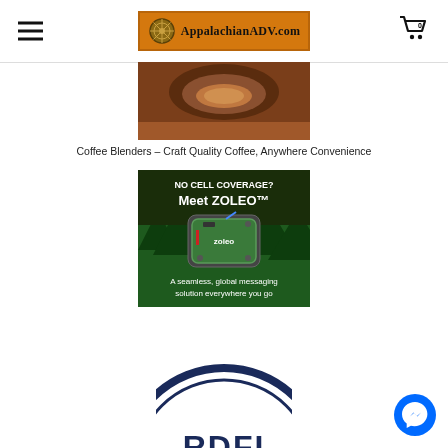AppalachianADV.com
[Figure (screenshot): Partial coffee cup image cropped at top]
Coffee Blenders - Craft Quality Coffee, Anywhere Convenience
[Figure (screenshot): ZOLEO advertisement: NO CELL COVERAGE? Meet ZOLEO. A seamless, global messaging solution everywhere you go.]
[Figure (logo): Circular badge/patch partially visible at bottom showing letters RDFI]
[Figure (logo): Facebook Messenger button icon in bottom right corner]